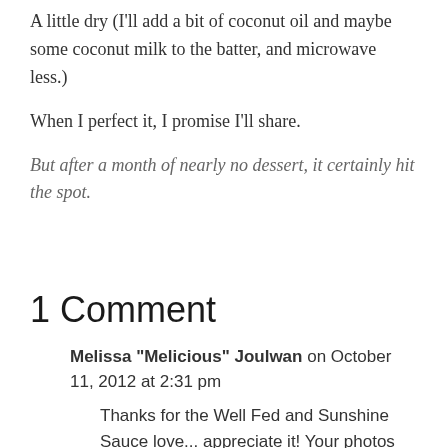A little dry (I'll add a bit of coconut oil and maybe some coconut milk to the batter, and microwave less.)
When I perfect it, I promise I'll share.
But after a month of nearly no dessert, it certainly hit the spot.
1 Comment
Melissa "Melicious" Joulwan on October 11, 2012 at 2:31 pm
Thanks for the Well Fed and Sunshine Sauce love... appreciate it! Your photos are gorgeous, and I'm not officially